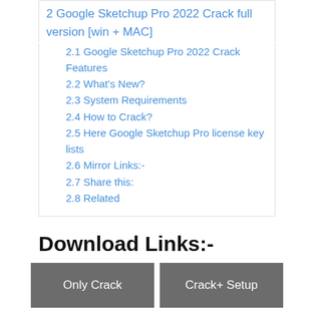2 Google Sketchup Pro 2022 Crack full version [win + MAC]
2.1 Google Sketchup Pro 2022 Crack Features
2.2 What's New?
2.3 System Requirements
2.4 How to Crack?
2.5 Here Google Sketchup Pro license key lists
2.6 Mirror Links:-
2.7 Share this:
2.8 Related
Download Links:-
[Figure (other): Two buttons labeled 'Only Crack' and 'Crack+ Setup' in dark gray]
Google Sketchup Pro 2022